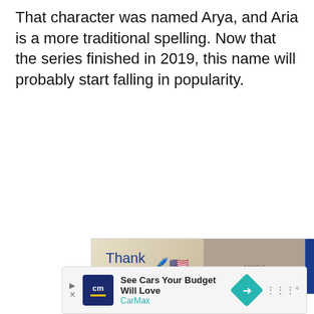That character was named Arya, and Aria is a more traditional spelling. Now that the series finished in 2019, this name will probably start falling in popularity.
[Figure (photo): Operation Gratitude advertisement banner showing healthcare workers holding cards with 'Thank you!' text and American flag pencil graphic, alongside Operation Gratitude logo]
[Figure (infographic): Heart/like button (teal circle with heart icon) showing 172 likes, and a share button below it]
[Figure (infographic): What's Next panel showing '23 Popular Baby Boy...' with thumbnail image]
[Figure (infographic): CarMax advertisement: 'See Cars Your Budget Will Love' with CarMax logo and navigation icon]